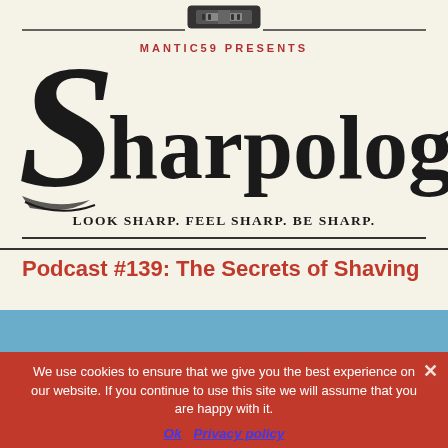[Figure (logo): Sharpologist logo: large decorative S with 'Sharpologist' text, 'MANTIC59 PRESENTS' above, 'LOOK SHARP. FEEL SHARP. BE SHARP.' tagline, razor blade graphic at top center, black and dark red color scheme on cream background]
Podcast #139: The Secrets of Shaving
[Figure (photo): Blue-sky background section, partial view of podcast cover image]
We use cookies to ensure that we give you the best experience on our website. If you continue to use this site we will assume that you are happy with it.
Ok   Privacy policy